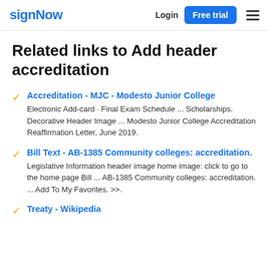signNow | Login | Free trial
Related links to Add header accreditation
Accreditation - MJC - Modesto Junior College
Electronic Add-card · Final Exam Schedule ... Scholarships. Decorative Header Image ... Modesto Junior College Accreditation Reaffirmation Letter, June 2019.
Bill Text - AB-1385 Community colleges: accreditation.
Legislative Information header image home image: click to go to the home page Bill ... AB-1385 Community colleges: accreditation. ... Add To My Favorites. >>.
Treaty - Wikipedia